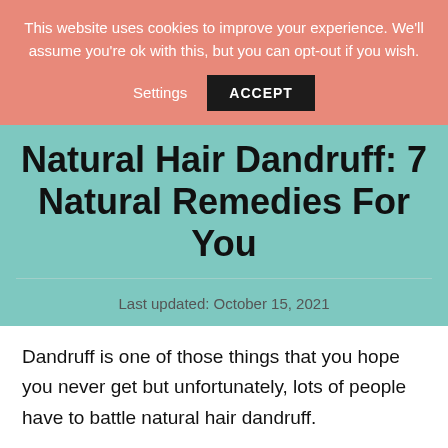This website uses cookies to improve your experience. We'll assume you're ok with this, but you can opt-out if you wish.
Settings   ACCEPT
Natural Hair Dandruff: 7 Natural Remedies For You
Last updated: October 15, 2021
Dandruff is one of those things that you hope you never get but unfortunately, lots of people have to battle natural hair dandruff.
No...